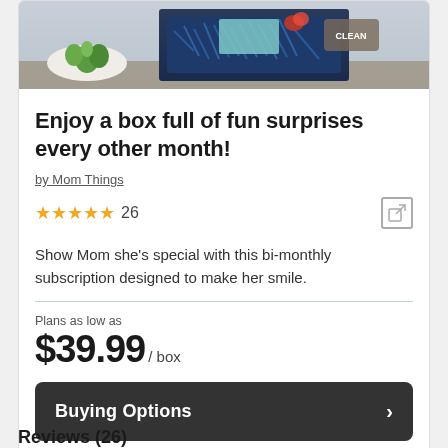[Figure (photo): Product photo showing a navy gift box with blue shredded paper filler, containing various items including a succulent plant and other surprise items.]
Enjoy a box full of fun surprises every other month!
by Mom Things
★★★★★ 26
Show Mom she's special with this bi-monthly subscription designed to make her smile.
Plans as low as
$39.99/ box
Buying Options
Reviews (26)